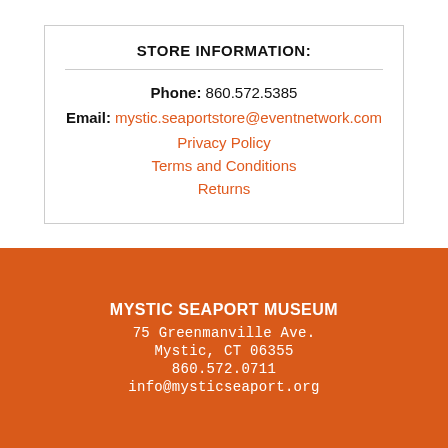STORE INFORMATION:
Phone: 860.572.5385
Email: mystic.seaportstore@eventnetwork.com
Privacy Policy
Terms and Conditions
Returns
MYSTIC SEAPORT MUSEUM
75 Greenmanville Ave.
Mystic, CT 06355
860.572.0711
info@mysticseaport.org